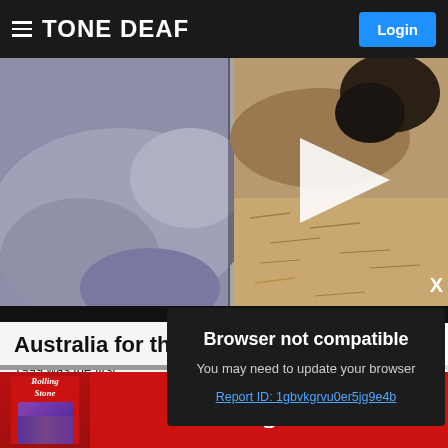TONE DEAF
[Figure (screenshot): Video thumbnail showing close-up of animal back (left, grey-blue) and ground/dirt (right, tan), with white play button triangle overlay]
Australia for th
1999 was the first up the top three: P Heidi's 'Weir', and T
[Figure (screenshot): Browser not compatible popup dialog. Title: Browser not compatible. Subtitle: You may need to update your browser. Link: Report ID: 1gbvkgrvu0er5jg9e4b]
[Figure (advertisement): Rolling Stone magazine advertisement on red background with Rolling Stone logo in white italic serif font]